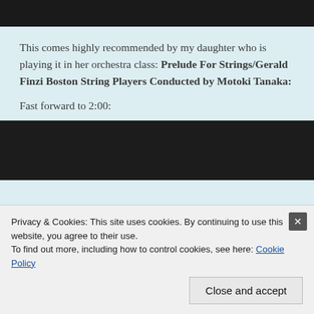[Figure (screenshot): Dark/black video player top bar area]
This comes highly recommended by my daughter who is playing it in her orchestra class: Prelude For Strings/Gerald Finzi Boston String Players Conducted by Motoki Tanaka:
Fast forward to 2:00:
[Figure (screenshot): Dark/black video player bottom area]
Privacy & Cookies: This site uses cookies. By continuing to use this website, you agree to their use.
To find out more, including how to control cookies, see here: Cookie Policy
Close and accept